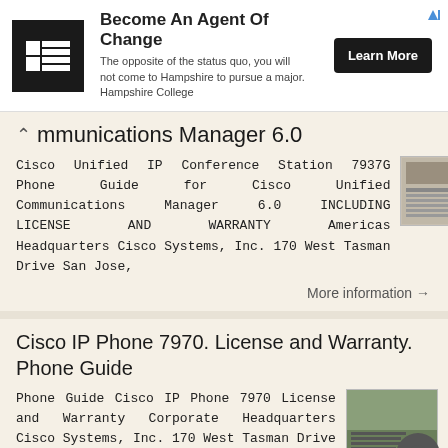[Figure (other): Advertisement banner for Hampshire College: logo, headline 'Become An Agent Of Change', description text, and 'Learn More' button]
Communications Manager 6.0
Cisco Unified IP Conference Station 7937G Phone Guide for Cisco Unified Communications Manager 6.0 INCLUDING LICENSE AND WARRANTY Americas Headquarters Cisco Systems, Inc. 170 West Tasman Drive San Jose,
More information →
Cisco IP Phone 7970. License and Warranty. Phone Guide
Phone Guide Cisco IP Phone 7970 License and Warranty Corporate Headquarters Cisco Systems, Inc. 170 West Tasman Drive